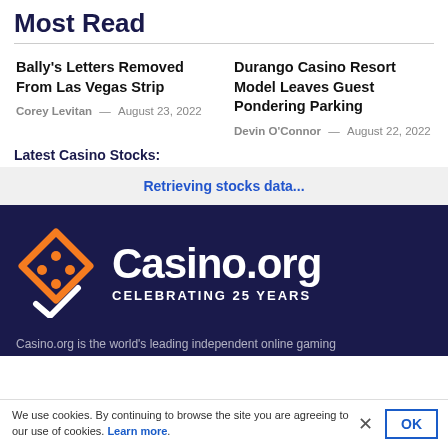Most Read
Bally's Letters Removed From Las Vegas Strip
Corey Levitan — August 23, 2022
Durango Casino Resort Model Leaves Guest Pondering Parking
Devin O'Connor — August 22, 2022
Latest Casino Stocks:
Retrieving stocks data...
[Figure (logo): Casino.org logo with orange diamond/card suit icon and white text 'Casino.org CELEBRATING 25 YEARS' on dark navy background]
Casino.org is the world's leading independent online gaming
We use cookies. By continuing to browse the site you are agreeing to our use of cookies. Learn more.